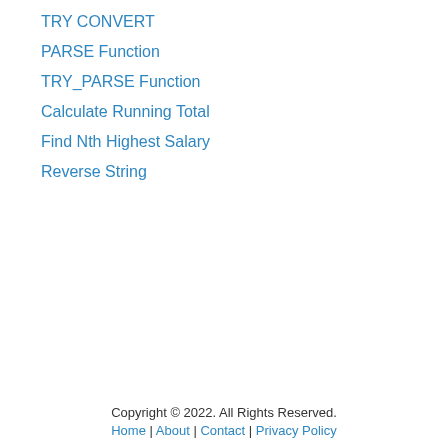TRY CONVERT
PARSE Function
TRY_PARSE Function
Calculate Running Total
Find Nth Highest Salary
Reverse String
Copyright © 2022. All Rights Reserved.
Home | About | Contact | Privacy Policy